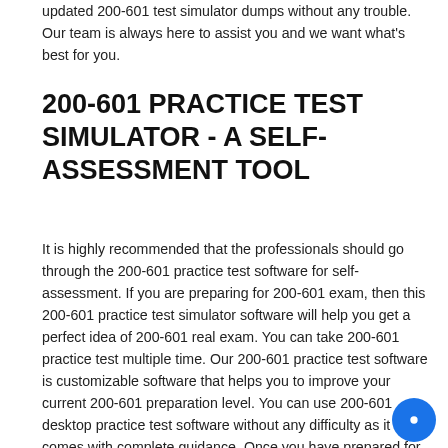updated 200-601 test simulator dumps without any trouble. Our team is always here to assist you and we want what's best for you.
200-601 PRACTICE TEST SIMULATOR - A SELF-ASSESSMENT TOOL
It is highly recommended that the professionals should go through the 200-601 practice test software for self-assessment. If you are preparing for 200-601 exam, then this 200-601 practice test simulator software will help you get a perfect idea of 200-601 real exam. You can take 200-601 practice test multiple time. Our 200-601 practice test software is customizable software that helps you to improve your current 200-601 preparation level. You can use 200-601 desktop practice test software without any difficulty as it comes with complete guidance. Once you have prepared for the Cisco 200-601 exam questions, then you should consider practicing the exam on 200-601 practice test. It will give you a clear idea of the 200-601 exam simulator preparation level you have so you can improve.